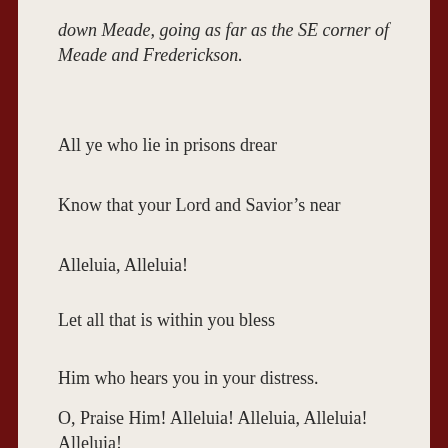down Meade, going as far as the SE corner of Meade and Frederickson.
All ye who lie in prisons drear
Know that your Lord and Savior’s near
Alleluia, Alleluia!
Let all that is within you bless
Him who hears you in your distress.
O, Praise Him! Alleluia! Alleluia, Alleluia! Alleluia!
The procession having stopped in front of the